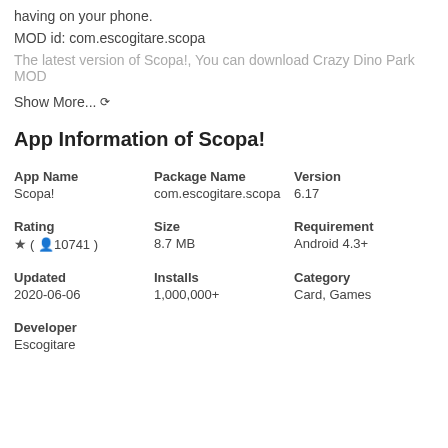having on your phone.
MOD id: com.escogitare.scopa
The latest version of Scopa!, You can download Crazy Dino Park MOD
Show More... ∨
App Information of Scopa!
| App Name | Package Name | Version |
| --- | --- | --- |
| Scopa! | com.escogitare.scopa | 6.17 |
| Rating | Size | Requirement |
| --- | --- | --- |
| ★ (👤10741 ) | 8.7 MB | Android 4.3+ |
| Updated | Installs | Category |
| --- | --- | --- |
| 2020-06-06 | 1,000,000+ | Card, Games |
| Developer |
| --- |
| Escogitare |